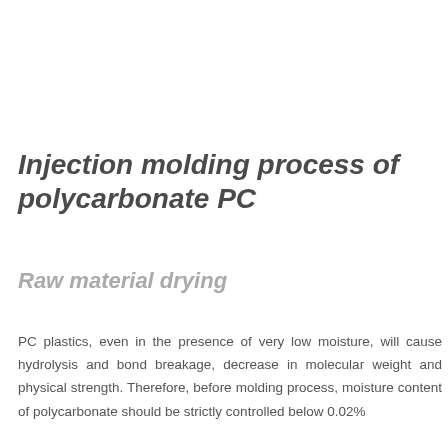Injection molding process of polycarbonate PC
Raw material drying
PC plastics, even in the presence of very low moisture, will cause hydrolysis and bond breakage, decrease in molecular weight and physical strength. Therefore, before molding process, moisture content of polycarbonate should be strictly controlled below 0.02%